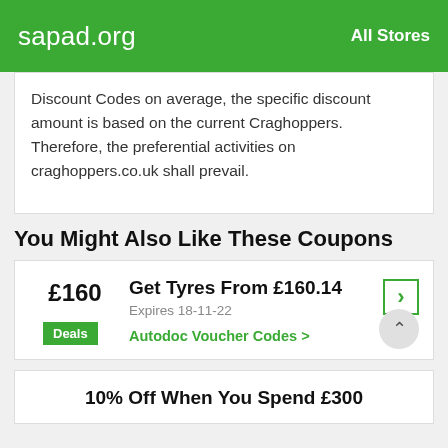sapad.org | All Stores
Discount Codes on average, the specific discount amount is based on the current Craghoppers. Therefore, the preferential activities on craghoppers.co.uk shall prevail.
You Might Also Like These Coupons
£160 | Get Tyres From £160.14 | Expires 18-11-22 | Deals | Autodoc Voucher Codes
10% Off When You Spend £300